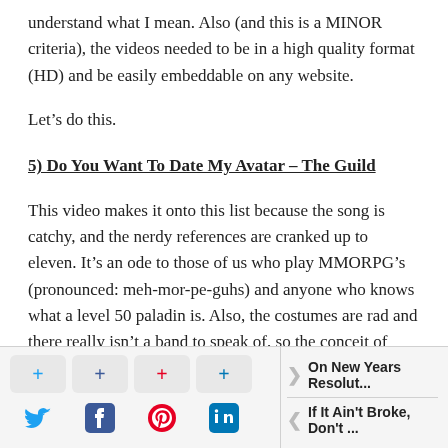understand what I mean. Also (and this is a MINOR criteria), the videos needed to be in a high quality format (HD) and be easily embeddable on any website.
Let's do this.
5) Do You Want To Date My Avatar – The Guild
This video makes it onto this list because the song is catchy, and the nerdy references are cranked up to eleven. It's an ode to those of us who play MMORPG's (pronounced: meh-mor-pe-guhs) and anyone who knows what a level 50 paladin is. Also, the costumes are rad and there really isn't a band to speak of, so the conceit of playing to an audience doesn't exist. If you like this, check out the show.
[Figure (other): Social sharing buttons (Twitter, Facebook, Pinterest, LinkedIn) with plus icons above each, followed by navigation links: 'On New Years Resolut...' and 'If It Ain't Broke, Don't ...']